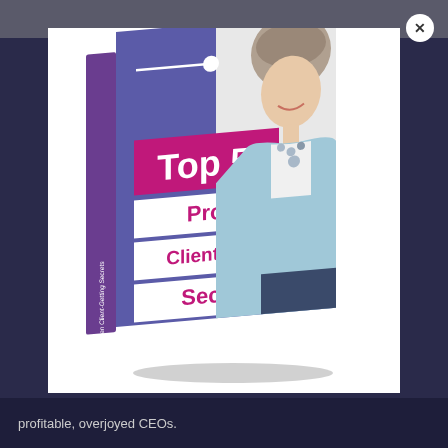[Figure (photo): A 3D rendered book cover titled 'Top 5 Proven Client-Getting Secrets' with a blue/purple and pink design, featuring a photo of a smiling middle-aged woman with short grey hair wearing a light blue blazer and white top with a beaded necklace. The spine reads 'Top 5 Proven Client-Getting Secrets'. The book is shown at an angle on a white background inside a modal popup with a dark navy background and a grey top bar. A close (X) button is in the top right corner.]
profitable, overjoyed CEOs.